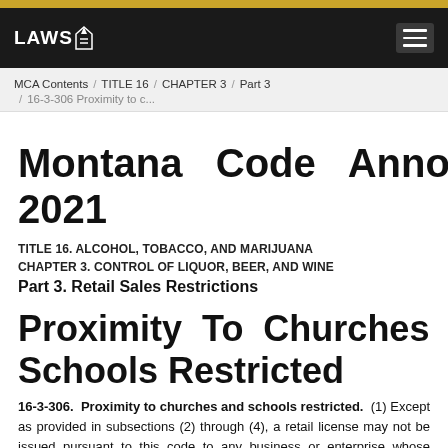LAWS (logo) — navigation header with hamburger menu
MCA Contents / TITLE 16 / CHAPTER 3 / Part 3 / 16-3-306 Proximity to c...
Montana Code Annotated 2021
TITLE 16. ALCOHOL, TOBACCO, AND MARIJUANA
CHAPTER 3. CONTROL OF LIQUOR, BEER, AND WINE
Part 3. Retail Sales Restrictions
Proximity To Churches And Schools Restricted
16-3-306. Proximity to churches and schools restricted. (1) Except as provided in subsections (2) through (4), a retail license may not be issued pursuant to this code to any business or enterprise whose premises are within 600 feet of and on the